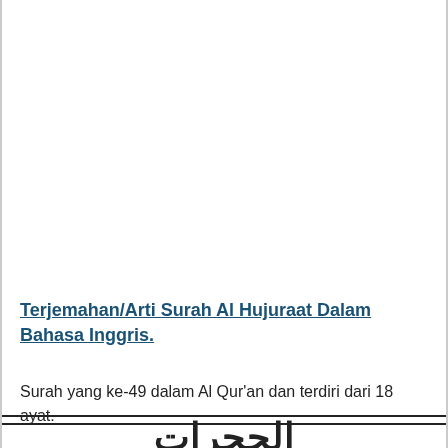Terjemahan/Arti Surah Al Hujuraat Dalam Bahasa Inggris.
Surah yang ke-49 dalam Al Qur'an dan terdiri dari 18 ayat.
الحجرات